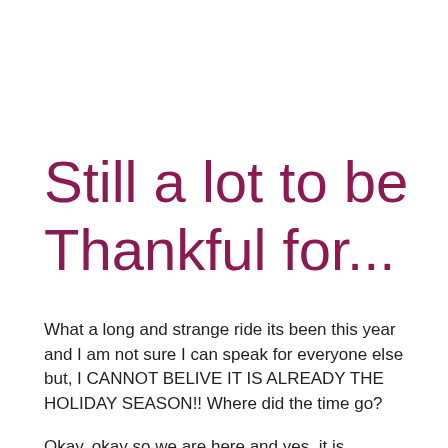Still a lot to be Thankful for...
What a long and strange ride its been this year and I am not sure I can speak for everyone else but, I CANNOT BELIVE IT IS ALREADY THE HOLIDAY SEASON!! Where did the time go?
Okay, okay so we are here and yes, it is November now and for the most part we have all accepted the new